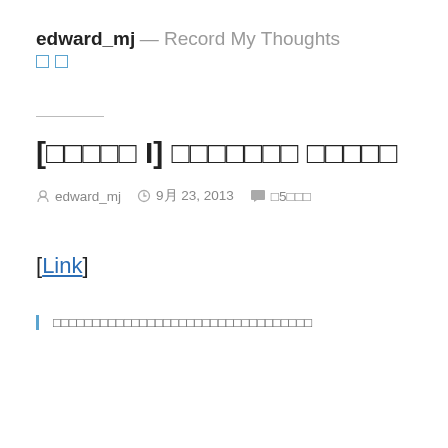edward_mj — Record My Thoughts
□□
[□□□□□ I] □□□□□□□ □□□□□
edward_mj  9月 23, 2013  □5□□□
[Link]
□□□□□□□□□□□□□□□□□□□□□□□□□□□□□□□□